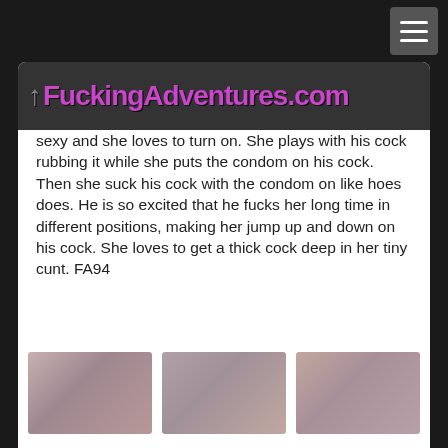FuckingAdventures.com
sexy and she loves to turn on. She plays with his cock rubbing it while she puts the condom on his cock. Then she suck his cock with the condom on like hoes does. He is so excited that he fucks her long time in different positions, making her jump up and down on his cock. She loves to get a thick cock deep in her tiny cunt. FA94
[Figure (photo): Thumbnail 1 - couple on sofa]
[Figure (photo): Thumbnail 2 - couple on sofa]
[Figure (photo): Thumbnail 3 - couple on sofa]
Login
Join now !
Next page